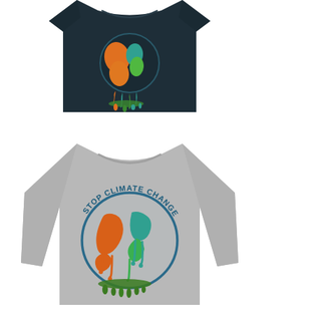[Figure (photo): Dark navy/black t-shirt with a melting globe graphic showing continents in orange, green, and teal colors with dripping paint effect]
[Figure (photo): Gray long-sleeve t-shirt with 'STOP CLIMATE CHANGE' text arched above a melting globe graphic showing continents in orange and teal colors with dripping paint effect]